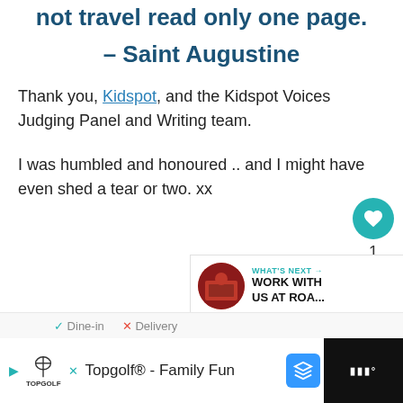not travel read only one page.
– Saint Augustine
Thank you, Kidspot, and the Kidspot Voices Judging Panel and Writing team.
I was humbled and honoured .. and I might have even shed a tear or two. xx
[Figure (infographic): Social action buttons: teal heart/like button with count '1' and a light grey share button with share icon]
[Figure (infographic): What's Next card showing a circular photo of people in red uniforms with label 'WHAT'S NEXT →' and headline 'WORK WITH US AT ROA...']
✓ Dine-in  ✕ Delivery
[Figure (infographic): Advertisement bar at bottom showing Topgolf logo with play button, navigation arrow icon, and right panel on dark background with logo]